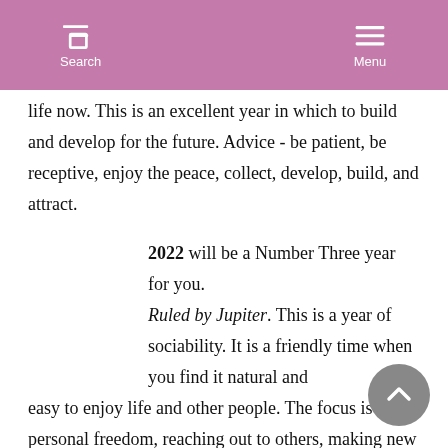Search | Menu
life now. This is an excellent year in which to build and develop for the future. Advice - be patient, be receptive, enjoy the peace, collect, develop, build, and attract.
2022 will be a Number Three year for you. Ruled by Jupiter. This is a year of sociability. It is a friendly time when you find it natural and easy to enjoy life and other people. The focus is on personal freedom, reaching out to others, making new friends, and exploring. You are more enthusiastic and ready for adventure than you are in other years. It's likely to be a rather lighthearted year when opportunities for "play" time are greater than usual. It's also a favorable year for